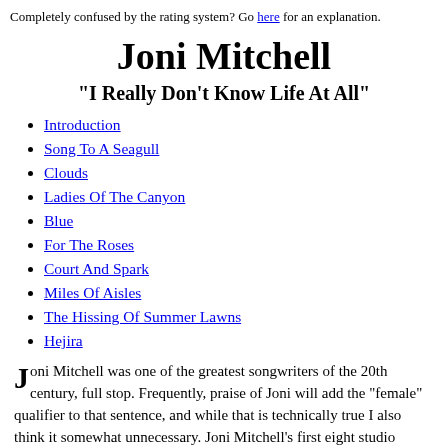Completely confused by the rating system? Go here for an explanation.
Joni Mitchell
"I Really Don't Know Life At All"
Introduction
Song To A Seagull
Clouds
Ladies Of The Canyon
Blue
For The Roses
Court And Spark
Miles Of Aisles
The Hissing Of Summer Lawns
Hejira
Joni Mitchell was one of the greatest songwriters of the 20th century, full stop. Frequently, praise of Joni will add the "female" qualifier to that sentence, and while that is technically true I also think it somewhat unnecessary. Joni Mitchell's first eight studio albums are, in aggregate, an elite body of work, and while she certainly fell off some later, she